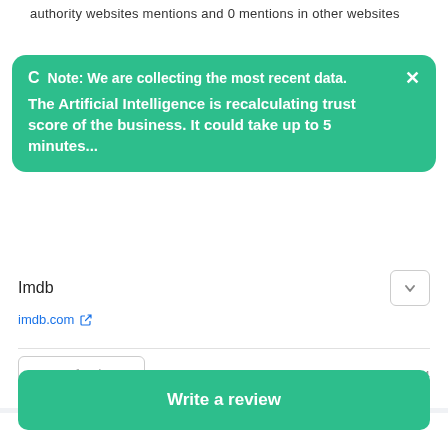authority websites mentions and 0 mentions in other websites
Note: We are collecting the most recent data. The Artificial Intelligence is recalculating trust score of the business. It could take up to 5 minutes...
Imdb
imdb.com
Refresh   LAST UPDATE: 2021-06-11 16:44
Write a review